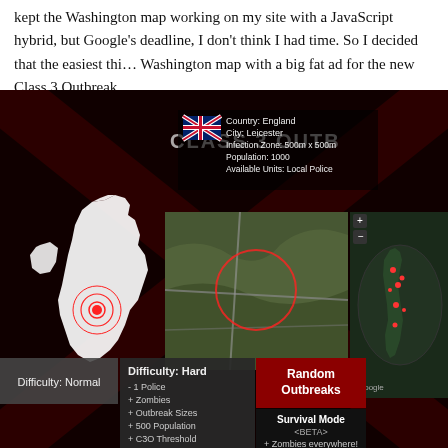kept the Washington map working on my site with a JavaScript hybrid, but Google's deadline, I don't think I had time. So I decided that the easiest thi… Washington map with a big fat ad for the new Class 3 Outbreak.
[Figure (screenshot): Screenshot of a zombie outbreak game interface called 'Class 3 Outbreak'. Shows a dark red background with Union Jack motif, a white silhouette map of the UK with a targeting reticle over Leicester, a satellite map view of Leicester, a world map with outbreak markers, an info panel showing Country: England, City: Leicester, Infection Zone: 500m x 500m, Population: 1000, Available Units: Local Police. Bottom buttons show Difficulty: Normal, Difficulty: Hard (with -1 Police, +Zombies, +Outbreak Sizes, +500 Population, +C3O Threshold), Random Outbreaks, and Survival Mode <BETA> +Zombies everywhere!]